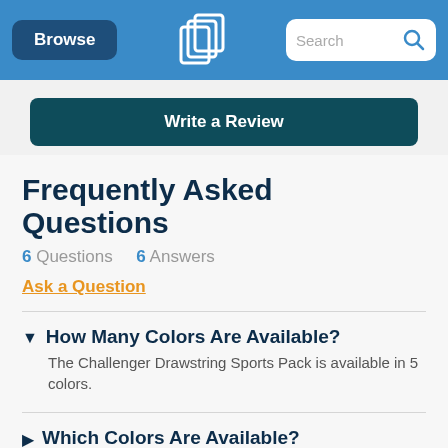Browse | [Logo] | Search
Write a Review
Frequently Asked Questions
6 Questions   6 Answers
Ask a Question
How Many Colors Are Available?
The Challenger Drawstring Sports Pack is available in 5 colors.
Which Colors Are Available?